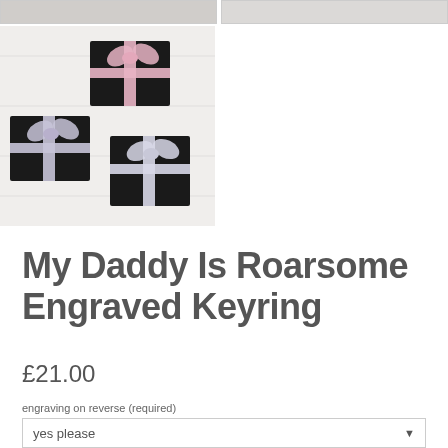[Figure (photo): Partial view of two product images cropped at the top of the page — left shows a light grey/white background item, right shows a similar styled item partially visible]
[Figure (photo): Three black velvet gift boxes tied with satin ribbons in pink and silver/lavender colors, arranged on a white wood background]
My Daddy Is Roarsome Engraved Keyring
£21.00
engraving on reverse (required)
yes please